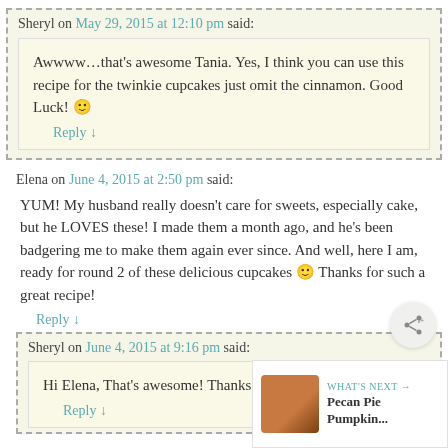Sheryl on May 29, 2015 at 12:10 pm said:
Awwww…that's awesome Tania. Yes, I think you can use this recipe for the twinkie cupcakes just omit the cinnamon. Good Luck! 🙂
Reply ↓
Elena on June 4, 2015 at 2:50 pm said:
YUM! My husband really doesn't care for sweets, especially cake, but he LOVES these! I made them a month ago, and he's been badgering me to make them again ever since. And well, here I am, ready for round 2 of these delicious cupcakes 🙂 Thanks for such a great recipe!
Reply ↓
Sheryl on June 4, 2015 at 9:16 pm said:
Hi Elena, That's awesome! Thanks. 🙂
Reply ↓